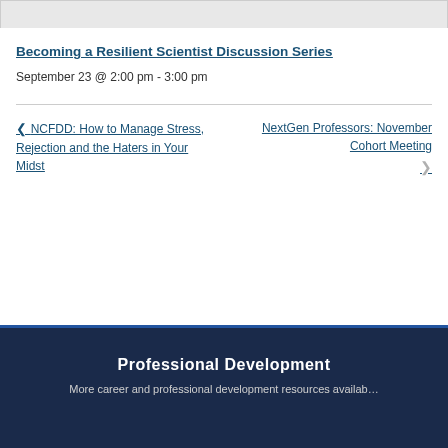Becoming a Resilient Scientist Discussion Series
September 23 @ 2:00 pm - 3:00 pm
< NCFDD: How to Manage Stress, Rejection and the Haters in Your Midst
NextGen Professors: November Cohort Meeting >
Professional Development
More career and professional development resources available